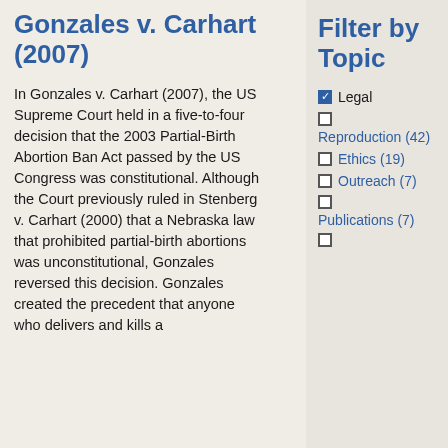Gonzales v. Carhart (2007)
In Gonzales v. Carhart (2007), the US Supreme Court held in a five-to-four decision that the 2003 Partial-Birth Abortion Ban Act passed by the US Congress was constitutional. Although the Court previously ruled in Stenberg v. Carhart (2000) that a Nebraska law that prohibited partial-birth abortions was unconstitutional, Gonzales reversed this decision. Gonzales created the precedent that anyone who delivers and kills a
Filter by Topic
Legal (checked)
Reproduction (42)
Ethics (19)
Outreach (7)
Publications (7)